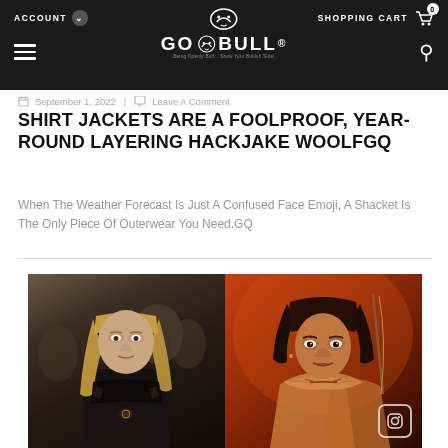ACCOUNT | GO BULL® | SHOPPING CART 0
September 1, 2022 | Leave A Comment
SHIRT JACKETS ARE A FOOLPROOF, YEAR-ROUND LAYERING HACKJAKE WOOLFGQ
When The Weather Forecast Is Just A Confused Face Emoji, A Shacket Is The Only Piece Of Outerwear You Need.GQ
[Figure (photo): Two side-by-side photos: left shows a blonde woman in dark clothing with a cool/neutral tone; right shows a dark-haired woman in a warm reddish-orange toned scene with an Instagram icon overlay in the bottom right corner.]